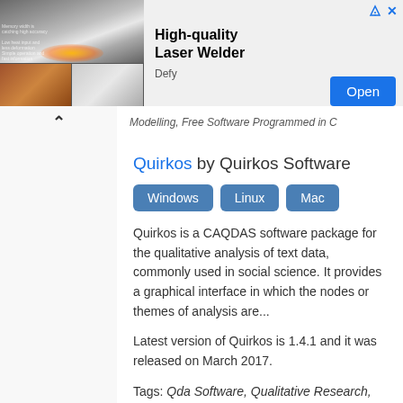[Figure (screenshot): Advertisement banner for High-quality Laser Welder by Defy, with product images on the left, bold title text in the center, and a blue Open button on the right.]
Modelling, Free Software Programmed in C
Quirkos by Quirkos Software
Windows  Linux  Mac
Quirkos is a CAQDAS software package for the qualitative analysis of text data, commonly used in social science. It provides a graphical interface in which the nodes or themes of analysis are...
Latest version of Quirkos is 1.4.1 and it was released on March 2017.
Tags: Qda Software, Qualitative Research, Science Software For Macos, Science Software For Linux